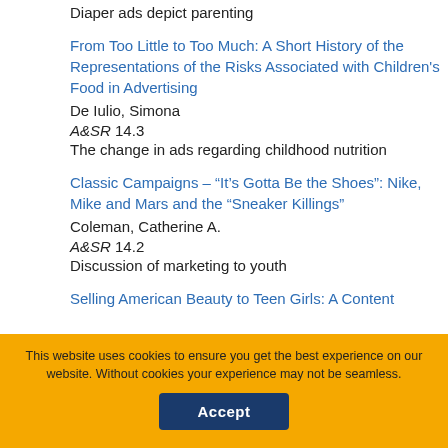Diaper ads depict parenting
From Too Little to Too Much: A Short History of the Representations of the Risks Associated with Children's Food in Advertising
De Iulio, Simona
A&SR 14.3
The change in ads regarding childhood nutrition
Classic Campaigns – “It’s Gotta Be the Shoes”: Nike, Mike and Mars and the “Sneaker Killings”
Coleman, Catherine A.
A&SR 14.2
Discussion of marketing to youth
Selling American Beauty to Teen Girls: A Content
This website uses cookies to ensure you get the best experience on our website. Without cookies your experience may not be seamless.
Accept